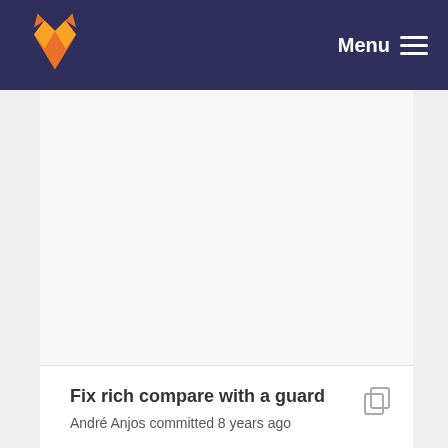[Figure (screenshot): GitLab navigation bar with orange fox logo on the left and Menu with hamburger icon on the right, on dark navy background]
Fix rich compare with a guard
André Anjos committed 8 years ago